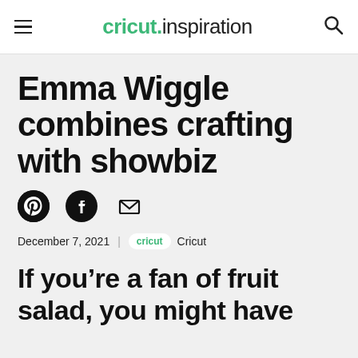cricut.inspiration
Emma Wiggle combines crafting with showbiz
December 7, 2021 | cricut  Cricut
If you're a fan of fruit salad, you might have